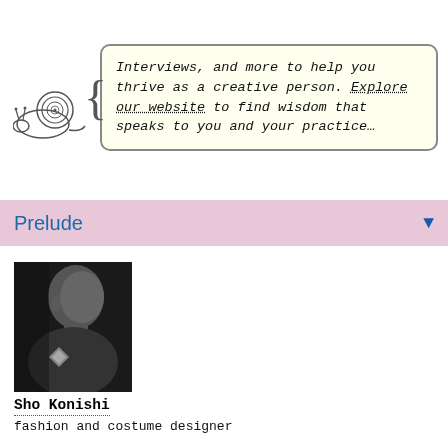Interviews, and more to help you thrive as a creative person. Explore our website to find wisdom that speaks to you and your practice…
[Figure (illustration): Hand-drawn illustration of a snail viewed from the side]
Prelude
[Figure (photo): Black and white profile photo of Sho Konishi, a person with a shaved head and ear jewelry, looking to the left, wearing a decorative brooch]
Sho Konishi
fashion and costume designer
Sho Konishi is a fashion and costume designer and educator living and working in New York. He has a Master of Fine Arts in Fashion Design from PARSONS Fashion Design and a Master of Arts in Fashion…